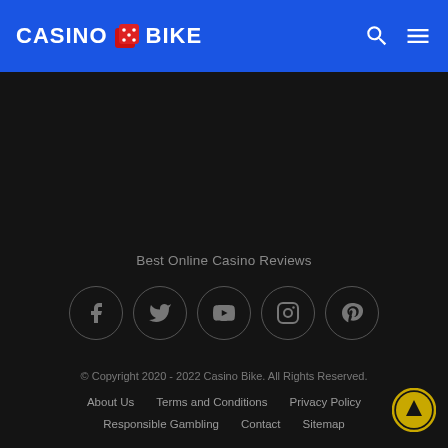CASINO BIKE
Best Online Casino Reviews
[Figure (infographic): Row of five social media icons in circles: Facebook, Twitter, YouTube, Instagram, Pinterest]
© Copyright 2020 - 2022 Casino Bike. All Rights Reserved.
About Us   Terms and Conditions   Privacy Policy
Responsible Gambling   Contact   Sitemap